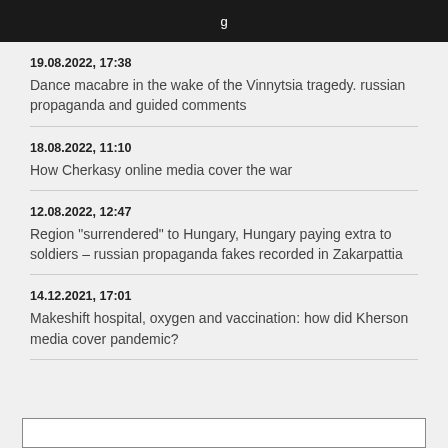19.08.2022, 17:38
Dance macabre in the wake of the Vinnytsia tragedy. russian propaganda and guided comments
18.08.2022, 11:10
How Cherkasy online media cover the war
12.08.2022, 12:47
Region "surrendered" to Hungary, Hungary paying extra to soldiers – russian propaganda fakes recorded in Zakarpattia
14.12.2021, 17:01
Makeshift hospital, oxygen and vaccination: how did Kherson media cover pandemic?